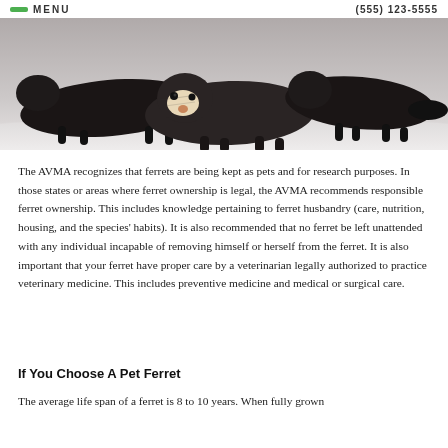MENU  (555) 123-5555
[Figure (photo): Two ferrets (dark-colored) lying flat on a white surface, photographed from the front, facing the camera.]
The AVMA recognizes that ferrets are being kept as pets and for research purposes. In those states or areas where ferret ownership is legal, the AVMA recommends responsible ferret ownership. This includes knowledge pertaining to ferret husbandry (care, nutrition, housing, and the species' habits). It is also recommended that no ferret be left unattended with any individual incapable of removing himself or herself from the ferret. It is also important that your ferret have proper care by a veterinarian legally authorized to practice veterinary medicine. This includes preventive medicine and medical or surgical care.
If You Choose A Pet Ferret
The average life span of a ferret is 8 to 10 years. When fully grown